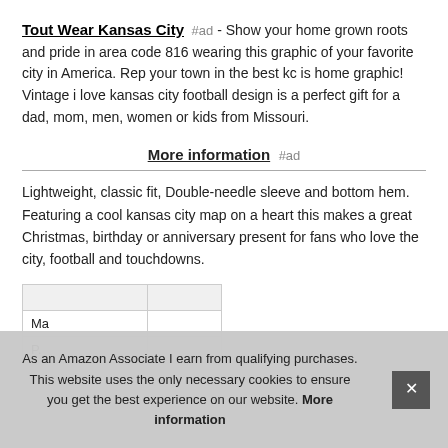Tout Wear Kansas City #ad - Show your home grown roots and pride in area code 816 wearing this graphic of your favorite city in America. Rep your town in the best kc is home graphic! Vintage i love kansas city football design is a perfect gift for a dad, mom, men, women or kids from Missouri.
More information #ad
Lightweight, classic fit, Double-needle sleeve and bottom hem. Featuring a cool kansas city map on a heart this makes a great Christmas, birthday or anniversary present for fans who love the city, football and touchdowns.
| Ma |  |
| P. |  |
As an Amazon Associate I earn from qualifying purchases. This website uses the only necessary cookies to ensure you get the best experience on our website. More information